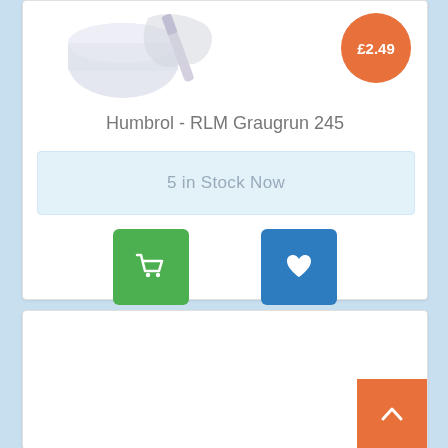[Figure (photo): Product image of Humbrol RLM Graugrun 245 paint, shown partially at top of card]
£2.49
Humbrol - RLM Graugrun 245
5 in Stock Now
[Figure (illustration): Green shopping cart button icon]
[Figure (illustration): Blue heart/wishlist button icon]
[Figure (illustration): Orange back-to-top arrow button]